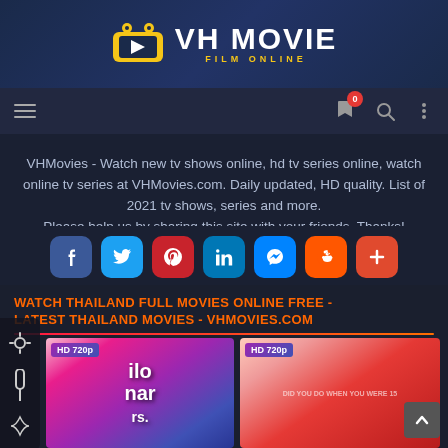[Figure (logo): VH Movie Film Online logo with yellow TV icon and white bold text]
Navigation bar with hamburger menu, bookmark icon with badge 0, search icon, more options icon
VHMovies - Watch new tv shows online, hd tv series online, watch online tv series at VHMovies.com. Daily updated, HD quality. List of 2021 tv shows, series and more.
Please help us by sharing this site with your friends. Thanks!
[Figure (infographic): Social share buttons row: Facebook, Twitter, Pinterest, LinkedIn, Messenger, Reddit, More]
WATCH THAILAND FULL MOVIES ONLINE FREE - LATEST THAILAND MOVIES - VHMOVIES.COM
[Figure (photo): Movie thumbnail 1 - HD 720p badge, Thai movie poster with Thai text]
[Figure (photo): Movie thumbnail 2 - HD 720p badge, red-toned movie poster]